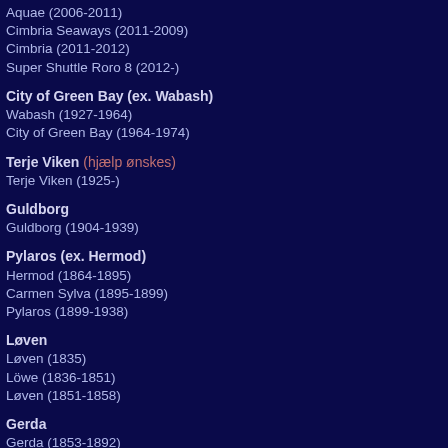Aquae (2006-2011)
Cimbria Seaways (2011-2009)
Cimbria (2011-2012)
Super Shuttle Roro 8 (2012-)
City of Green Bay (ex. Wabash)
Wabash (1927-1964)
City of Green Bay (1964-1974)
Terje Viken (hjælp ønskes)
Terje Viken (1925-)
Guldborg
Guldborg (1904-1939)
Pylaros (ex. Hermod)
Hermod (1864-1895)
Carmen Sylva (1895-1899)
Pylaros (1899-1938)
Løven
Løven (1835)
Löwe (1836-1851)
Løven (1851-1858)
Gerda
Gerda (1853-1892)
Freyr
Freyr (1853-1891)